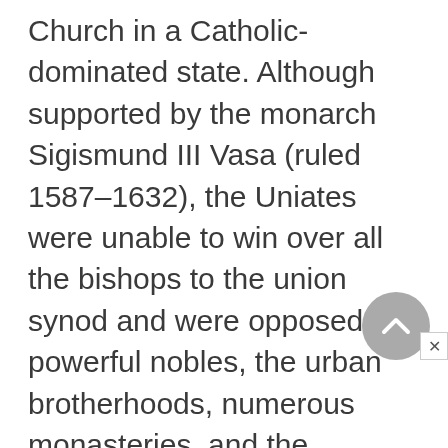Church in a Catholic-dominated state. Although supported by the monarch Sigismund III Vasa (ruled 1587–1632), the Uniates were unable to win over all the bishops to the union synod and were opposed by powerful nobles, the urban brotherhoods, numerous monasteries, and the Cossacks. They also suffered from the derisive attitude of many Latin clergy, who preferred outright conversion. Increasingly dependent on the civil authorities and Rome to combat the Orthodox